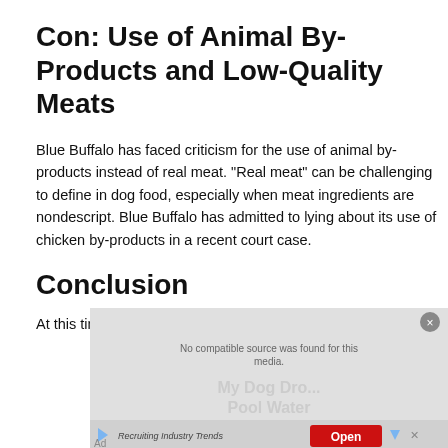Con: Use of Animal By-Products and Low-Quality Meats
Blue Buffalo has faced criticism for the use of animal by-products instead of real meat. "Real meat" can be challenging to define in dog food, especially when meat ingredients are nondescript. Blue Buffalo has admitted to lying about its use of chicken by-products in a recent court case.
Conclusion
At this time, 4Health's transparent ingredients and
[Figure (other): Advertisement overlay with video player UI showing 'No compatible source was found for this media', watermark text 'My Dog Dro... Pool Water', ad bar with 'Recruiting Industry Trends' text and Open button in red]